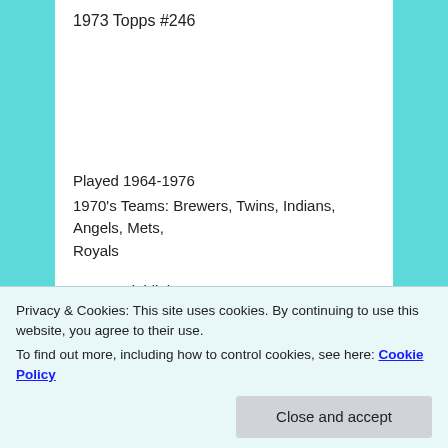1973 Topps #246
Played 1964-1976
1970's Teams: Brewers, Twins, Indians, Angels, Mets, Royals
1970's Highlights:
In 1971 he lead the AL with 31 saves, set a Major League record by finishing 77 games (a record broken by Mike Marshall in 1974), appeared in 83 games (currently a tie
Privacy & Cookies: This site uses cookies. By continuing to use this website, you agree to their use.
To find out more, including how to control cookies, see here: Cookie Policy
Close and accept